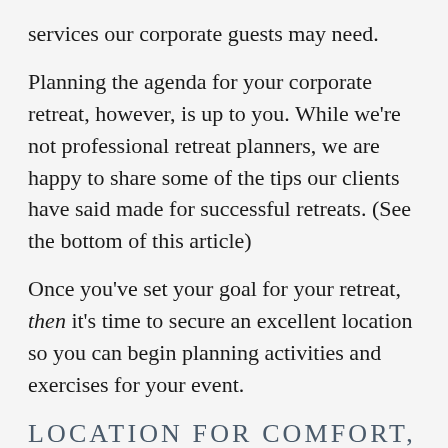services our corporate guests may need.
Planning the agenda for your corporate retreat, however, is up to you. While we're not professional retreat planners, we are happy to share some of the tips our clients have said made for successful retreats. (See the bottom of this article)
Once you've set your goal for your retreat, then it's time to secure an excellent location so you can begin planning activities and exercises for your event.
LOCATION FOR COMFORT, PRODUCTIVITY, RESULTS
While many guests enjoy the luxurious seclusion of Sea Oats for destination weddings and family